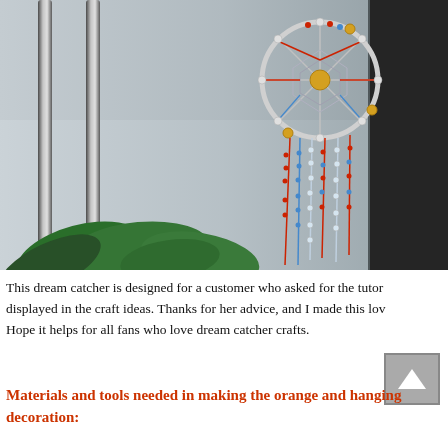[Figure (photo): Photo of a beaded dream catcher hanging against metal bars and a dark panel background, with green leaves at the bottom. The dream catcher has red, blue, and silver/clear beads with gold accent beads.]
This dream catcher is designed for a customer who asked for the tutor displayed in the craft ideas. Thanks for her advice, and I made this lov Hope it helps for all fans who love dream catcher crafts.
Materials and tools needed in making the orange and hanging decoration: